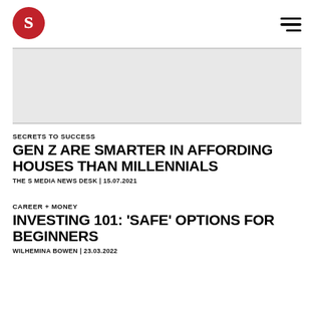[Figure (logo): Red circular logo with white letter S inside]
[Figure (photo): Hero image placeholder, light gray background]
SECRETS TO SUCCESS
GEN Z ARE SMARTER IN AFFORDING HOUSES THAN MILLENNIALS
THE S MEDIA NEWS DESK | 15.07.2021
CAREER + MONEY
INVESTING 101: 'SAFE' OPTIONS FOR BEGINNERS
WILHEMINA BOWEN | 23.03.2022